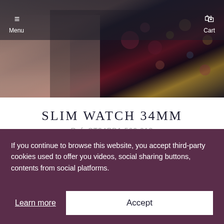Menu  Cart
[Figure (photo): Fashion lifestyle hero image showing a woman wearing a floral dress and necklace, soft warm and dark tones]
SLIM WATCH 34MM
Ref. ST34PD1.560.018
[Figure (photo): Partial product shot of a slim watch with braided/textured bracelet, gold case visible at top]
If you continue to browse this website, you accept third-party cookies used to offer you videos, social sharing buttons, contents from social platforms.
Learn more
Accept